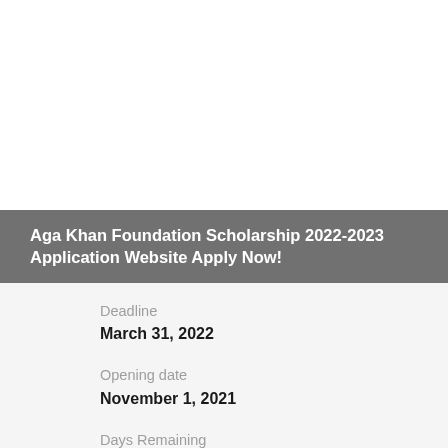Aga Khan Foundation Scholarship 2022-2023 Application Website Apply Now!
Deadline
March 31, 2022
Opening date
November 1, 2021
Days Remaining
Closed